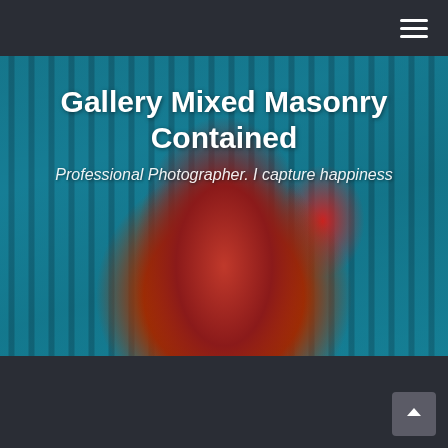Gallery Mixed Masonry Contained
Professional Photographer. I capture happiness
[Figure (photo): Person wearing a red draped garment viewed from behind, standing in front of cyan/teal vertical bars, right hand raised making a gesture]
[Figure (photo): Antelope Canyon or similar slot canyon with smooth flowing rock walls in purple and brown tones with teal sky visible through opening]
Striped Gallery